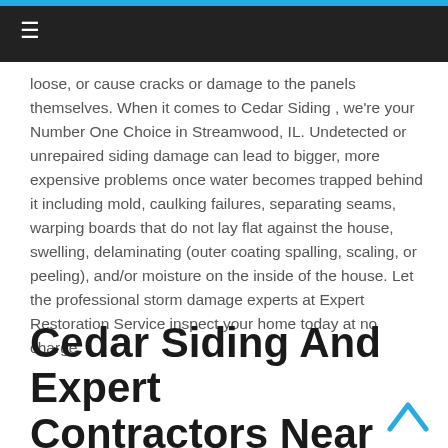☰
loose, or cause cracks or damage to the panels themselves. When it comes to Cedar Siding , we're your Number One Choice in Streamwood, IL. Undetected or unrepaired siding damage can lead to bigger, more expensive problems once water becomes trapped behind it including mold, caulking failures, separating seams, warping boards that do not lay flat against the house, swelling, delaminating (outer coating spalling, scaling, or peeling), and/or moisture on the inside of the house. Let the professional storm damage experts at Expert Restoration Service inspect your home today at no charge.
Cedar Siding And Expert Contractors Near You In